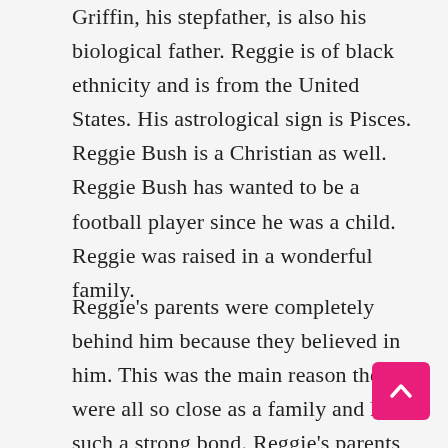Griffin, his stepfather, is also his biological father. Reggie is of black ethnicity and is from the United States. His astrological sign is Pisces. Reggie Bush is a Christian as well. Reggie Bush has wanted to be a football player since he was a child. Reggie was raised in a wonderful family.
Reggie's parents were completely behind him because they believed in him. This was the main reason they were all so close as a family and had such a strong bond. Reggie's parents supported him financially until he was able to support himself. Javon Griffin, Reggie Bush's